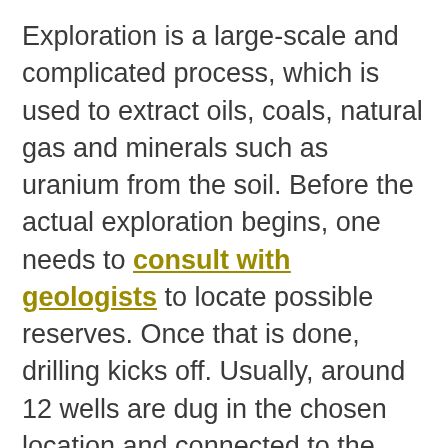Exploration is a large-scale and complicated process, which is used to extract oils, coals, natural gas and minerals such as uranium from the soil. Before the actual exploration begins, one needs to consult with geologists to locate possible reserves. Once that is done, drilling kicks off. Usually, around 12 wells are dug in the chosen location and connected to the processing area to facilitate initial purification of the extracted products before transportation to the processing plants.